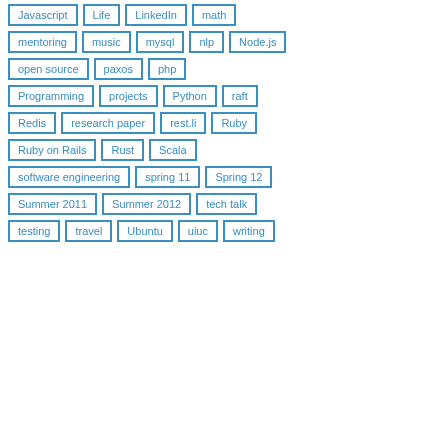Javascript
Life
LinkedIn
math
mentoring
music
mysql
nlp
Node.js
open source
paxos
php
Programming
projects
Python
raft
Redis
research paper
rest.li
Ruby
Ruby on Rails
Rust
Scala
software engineering
spring 11
Spring 12
Summer 2011
Summer 2012
tech talk
testing
travel
Ubuntu
uiuc
writing